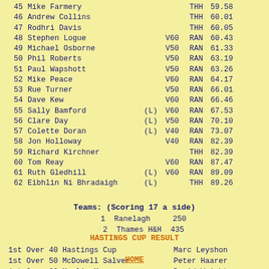45  Mike Farmery                       THH   59.58
46  Andrew Collins                     THH   60.01
47  Rodhri Davis                       THH   60.05
48  Stephen Logue               V60 RAN   60.43
49  Michael Osborne             V50 RAN   61.33
50  Phil Roberts                V50 RAN   63.19
51  Paul Wapshott               V50 RAN   63.26
52  Mike Peace                  V60 RAN   64.17
53  Rue Turner                  V50 RAN   66.01
54  Dave Kew                    V60 RAN   66.46
55  Sally Bamford         (L)   V60 RAN   67.53
56  Clare Day             (L)   V50 RAN   70.10
57  Colette Doran         (L)   V40 RAN   73.07
58  Jon Holloway                V40 RAN   82.39
59  Richard Kirchner               THH   82.39
60  Tom Reay                    V60 RAN   87.47
61  Ruth Gledhill         (L)   V60 RAN   89.09
62  Eibhlin Ni Bhradaigh  (L)       THH   89.26
Teams:  (Scoring 17 a side)
1  Ranelagh     250
2  Thames H&H  435
HASTINGS CUP RESULT
1st Over 40  Hastings Cup       Marc Leyshon
1st Over 50  McDowell Salver   Peter Haarer
1st Over 60  Maslin Mug        David Wright
HOME